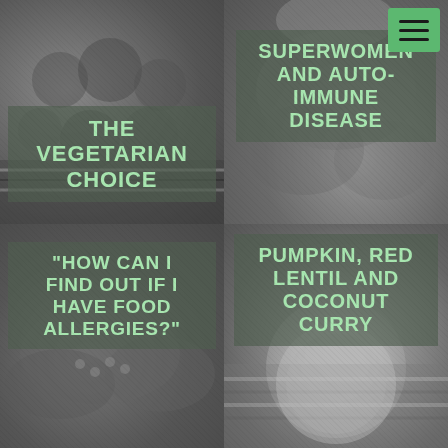[Figure (photo): Top-left quadrant: grayscale photo of vegetables (tomatoes, mushrooms) in a market basket with geometric patterned cloth]
THE VEGETARIAN CHOICE
[Figure (photo): Top-right quadrant: grayscale photo of leafy greens / broccoli with cloudy sky]
SUPERWOMEN AND AUTO-IMMUNE DISEASE
[Figure (photo): Bottom-left quadrant: grayscale photo of assorted legumes and vegetables in bowls]
“HOW CAN I FIND OUT IF I HAVE FOOD ALLERGIES?”
[Figure (photo): Bottom-right quadrant: grayscale photo of a bowl of pumpkin red lentil and coconut curry on striped cloth]
PUMPKIN, RED LENTIL AND COCONUT CURRY